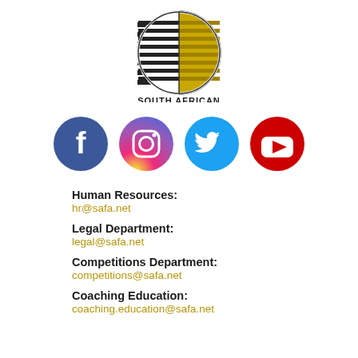[Figure (logo): South African Football Association logo — a soccer ball split between black-and-white checkered and gold/yellow African continent design, with text 'SOUTH AFRICAN FOOTBALL ASSOCIATION' below]
[Figure (infographic): Row of four circular social media icons: Facebook (blue), Instagram (pink/purple gradient), Twitter (light blue), YouTube (red)]
Human Resources:
hr@safa.net
Legal Department:
legal@safa.net
Competitions Department:
competitions@safa.net
Coaching Education:
coaching.education@safa.net